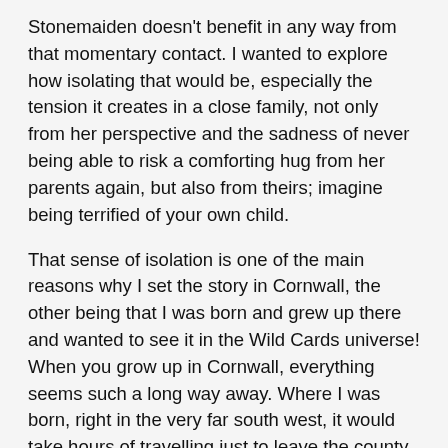Stonemaiden doesn't benefit in any way from that momentary contact. I wanted to explore how isolating that would be, especially the tension it creates in a close family, not only from her perspective and the sadness of never being able to risk a comforting hug from her parents again, but also from theirs; imagine being terrified of your own child.
That sense of isolation is one of the main reasons why I set the story in Cornwall, the other being that I was born and grew up there and wanted to see it in the Wild Cards universe! When you grow up in Cornwall, everything seems such a long way away. Where I was born, right in the very far south west, it would take hours of travelling just to leave the county, and hours more on top of that to reach any really big cities with lots of exciting things going on. I wanted the geographical isolation to mirror both her domestic isolation of growing up on a farm and being hidden from the world when her card turned, and her personal isolation of being unable to be truly close to her family any more.